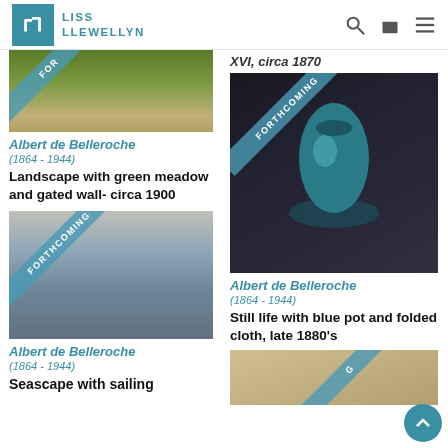LISS LLEWELLYN
XVI, circa 1870
[Figure (photo): Partial landscape painting with green meadow, with FORTHCOMING ribbon]
Albert de Belleroche
(1864 - 1944)
Landscape with green meadow and gated wall- circa 1900
[Figure (photo): Seascape painting with sailing imagery, FORTHCOMING ribbon]
Albert de Belleroche
(1864 - 1944)
Seascape with sailing
[Figure (photo): Still life painting of blue/teal vase with folded cloth, FORTHCOMING ribbon]
Albert de Belleroche
(1864 - 1944)
Still life with blue pot and folded cloth, late 1880's
[Figure (photo): Partial painting visible at bottom right]